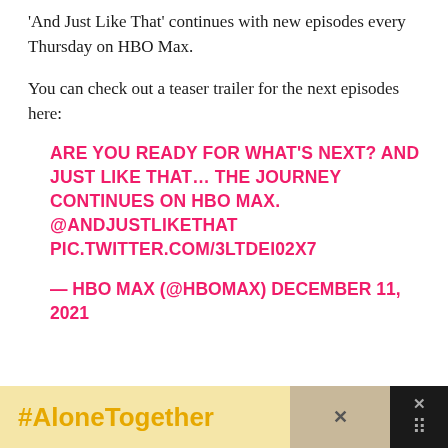'And Just Like That' continues with new episodes every Thursday on HBO Max.
You can check out a teaser trailer for the next episodes here:
ARE YOU READY FOR WHAT'S NEXT? AND JUST LIKE THAT… THE JOURNEY CONTINUES ON HBO MAX. @ANDJUSTLIKETHAT PIC.TWITTER.COM/3LTDEI02X7
— HBO MAX (@HBOMAX) DECEMBER 11, 2021
[Figure (other): Advertisement banner with #AloneTogether text in gold on yellow background, with a photo of a person and a dark close button on the right]